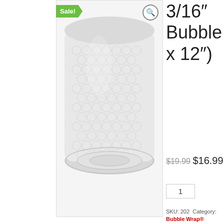[Figure (photo): Roll of 3/16 inch bubble wrap packaging material with Sale! badge and search icon]
3/16" Bubble x 12")
$19.99 $16.99
1
SKU: 202  Category: Bubble Wrap®  bubblewrap
Related products
[Figure (photo): Related product 1: bubble wrap roll, Sale badge, price $39.99 crossed out, $34.99]
[Figure (photo): Related product 2: price $79.99]
[Figure (photo): Related product 3: grey/silver roll packaging material, partially visible]